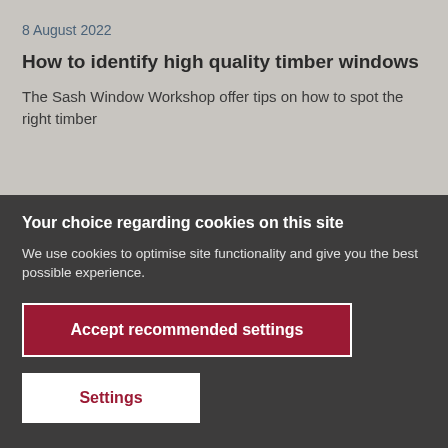8 August 2022
How to identify high quality timber windows
The Sash Window Workshop offer tips on how to spot the right timber windows for you.
Your choice regarding cookies on this site
We use cookies to optimise site functionality and give you the best possible experience.
Accept recommended settings
Settings